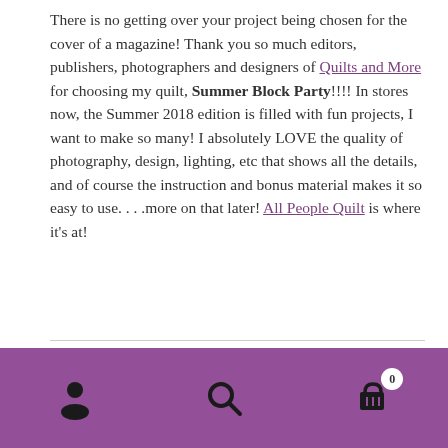There is no getting over your project being chosen for the cover of a magazine!  Thank you so much editors, publishers, photographers and designers of Quilts and More for choosing my quilt, Summer Block Party!!!!  In stores now, the Summer 2018 edition is filled with fun projects, I want to make so many!  I absolutely LOVE the quality of photography, design, lighting, etc that shows all the details, and of course the instruction and bonus material makes it so easy to use. . . .more on that later! All People Quilt is where it's at!
Category: Quilts and More
Tags: All People Quilt, Fast quilt pattern, Meredith Corp.,
[Figure (other): Purple navigation bar with three icons: person/account icon on left, search magnifying glass in center, shopping cart with badge showing 0 on right]